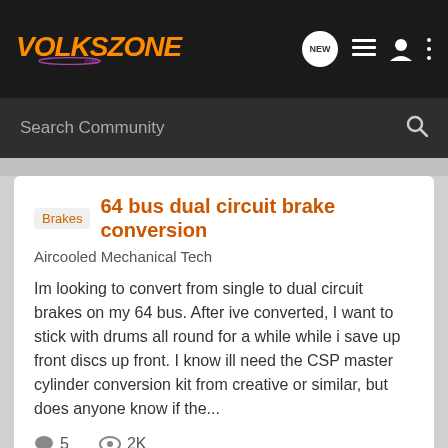VOLKSZONE .com — navigation bar with NEW, list, user, and menu icons
Search Community
Brakes  64 bus dual circuit brake conversion
Aircooled Mechanical Tech
Im looking to convert from single to dual circuit brakes on my 64 bus. After ive converted, I want to stick with drums all round for a while while i save up front discs up front. I know ill need the CSP master cylinder conversion kit from creative or similar, but does anyone know if the...
5  2K
ferkh10 · Feb 11, 2009
brakes  master cylinder